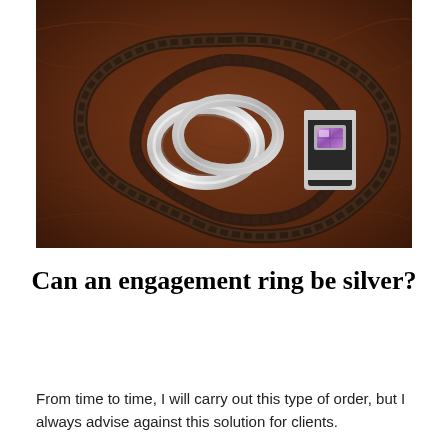[Figure (photo): Photograph of two silver rings and one ring with a purple gemstone, arranged on a dark brown leather surface with a twisted dark rope or chain coiled in a heart-like shape around them.]
Can an engagement ring be silver?
From time to time, I will carry out this type of order, but I always advise against this solution for clients.